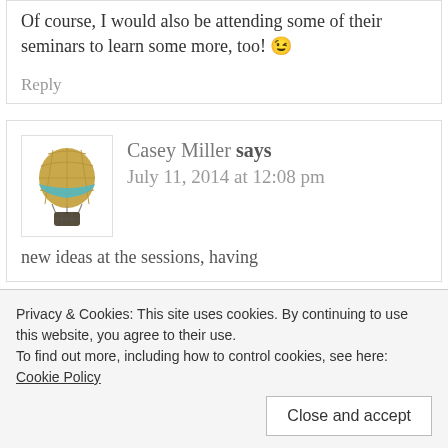Of course, I would also be attending some of their seminars to learn some more, too! 😉
Reply
[Figure (illustration): Hot air balloon logo icon in gold and teal colors]
Casey Miller says July 11, 2014 at 12:08 pm
new ideas at the sessions, having
Privacy & Cookies: This site uses cookies. By continuing to use this website, you agree to their use. To find out more, including how to control cookies, see here: Cookie Policy
Close and accept